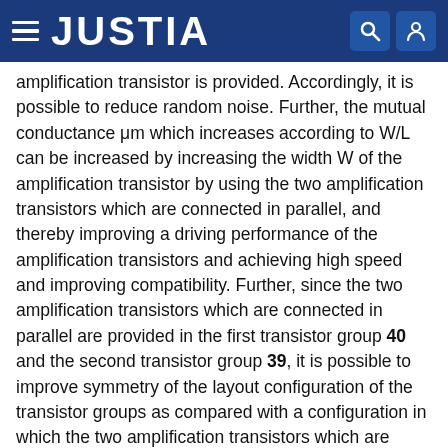JUSTIA
amplification transistor is provided. Accordingly, it is possible to reduce random noise. Further, the mutual conductance μm which increases according to W/L can be increased by increasing the width W of the amplification transistor by using the two amplification transistors which are connected in parallel, and thereby improving a driving performance of the amplification transistors and achieving high speed and improving compatibility. Further, since the two amplification transistors which are connected in parallel are provided in the first transistor group 40 and the second transistor group 39, it is possible to improve symmetry of the layout configuration of the transistor groups as compared with a configuration in which the two amplification transistors which are connected in parallel are formed in the same transistor group.